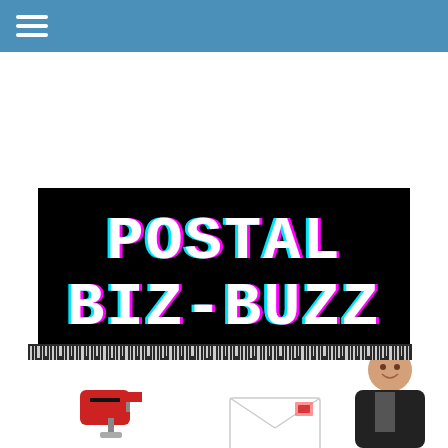[Figure (logo): Postal Biz-Buzz logo on black background with glitch-effect white text and cyan/magenta shadow, followed by a barcode strip at the bottom]
[Figure (illustration): Bottom portion showing a red mailbox on the left, a smiling middle-aged man in a black leather jacket holding a letter/envelope on the right, with white background]